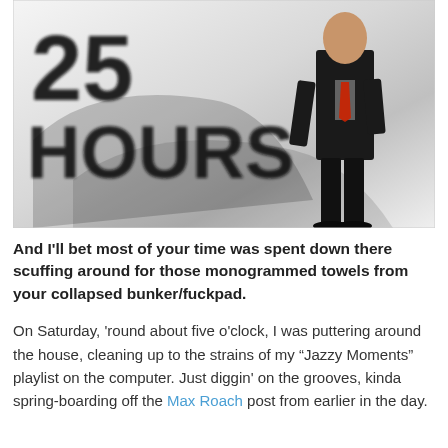[Figure (illustration): Movie or TV show promotional image showing large bold text '25 HOURS' in the background with a man in a dark suit and red tie standing to the right. The image has a high-contrast black and white graphic design aesthetic.]
And I'll bet most of your time was spent down there scuffing around for those monogrammed towels from your collapsed bunker/fuckpad.
On Saturday, 'round about five o'clock, I was puttering around the house, cleaning up to the strains of my "Jazzy Moments" playlist on the computer. Just diggin' on the grooves, kinda spring-boarding off the Max Roach post from earlier in the day.